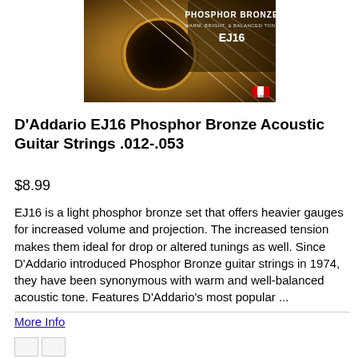[Figure (photo): D'Addario EJ16 Phosphor Bronze acoustic guitar strings product packaging image showing a close-up of guitar strings with text 'PHOSPHOR BRONZE WARM, BRIGHT, & BALANCED TONE EJ16']
D'Addario EJ16 Phosphor Bronze Acoustic Guitar Strings .012-.053
$8.99
EJ16 is a light phosphor bronze set that offers heavier gauges for increased volume and projection. The increased tension makes them ideal for drop or altered tunings as well. Since D'Addario introduced Phosphor Bronze guitar strings in 1974, they have been synonymous with warm and well-balanced acoustic tone. Features D'Addario's most popular ...
More Info
Add to Cart